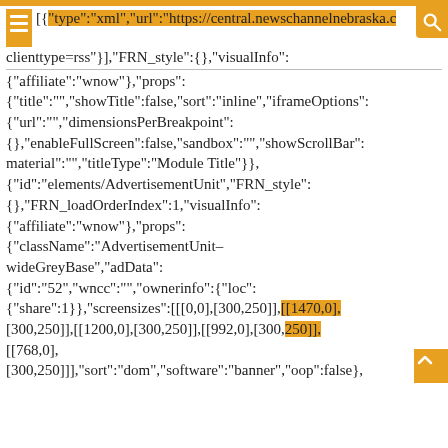[{"type":"xml","url":"https://central.newschannelnebraska.c… clienttype=rss"}],"FRN_style":{},"visualInfo": {"affiliate":"wnow"},"props": {"title":"","showTitle":false,"sort":"inline","iframeOptions" {"url":"","dimensionsPerBreakpoint": {},"enableFullScreen":false,"sandbox":"","showScrollBar": material":"","titleType":"Module Title"}}, {"id":"elements/AdvertisementUnit","FRN_style": {},"FRN_loadOrderIndex":1,"visualInfo": {"affiliate":"wnow"},"props": {"className":"AdvertisementUnit–wideGreyBase","adData": {"id":"52","wncc":"","ownerinfo":{"loc": {"share":1}},"screensizes":[[[0,0],[300,250]],[[1470,0],[300,250]],[[1200,0],[300,250]],[[992,0],[300,250]],[[768,0],[300,250]]],"sort":"dom","software":"banner","oop":false},